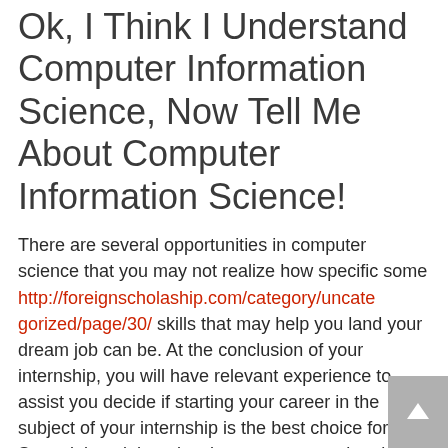Ok, I Think I Understand Computer Information Science, Now Tell Me About Computer Information Science!
There are several opportunities in computer science that you may not realize how specific some http://foreignscholaship.com/category/uncategorized/page/30/ skills that may help you land your dream job can be. At the conclusion of your internship, you will have relevant experience to assist you decide if starting your career in the subject of your internship is the best choice for you. Some jobs might only take a computer-related associate's degree.
There http://vbsvn.com/uncategorized/why-everybody-is-talking-about-heritable-